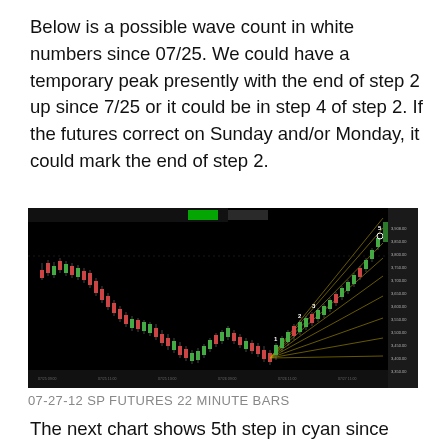Below is a possible wave count in white numbers since 07/25.  We could have a temporary peak presently with the end of step 2 up since 7/25 or it could be in step 4 of step 2.   If the futures correct on Sunday and/or Monday, it could mark the end of step 2.
[Figure (continuous-plot): Dark background candlestick chart showing SP Futures 22 minute bars dated 07-27-12. Chart shows a decline followed by a recovery with fan lines (Gann or Fibonacci) emanating from the low point on the right side. Price action shows red/green candlesticks with multiple angled trend lines projected upward.]
07-27-12 SP FUTURES 22 MINUTE BARS
The next chart shows 5th step in cyan since June 4th. There is always the possibility that cyan steps 1 and 2 are